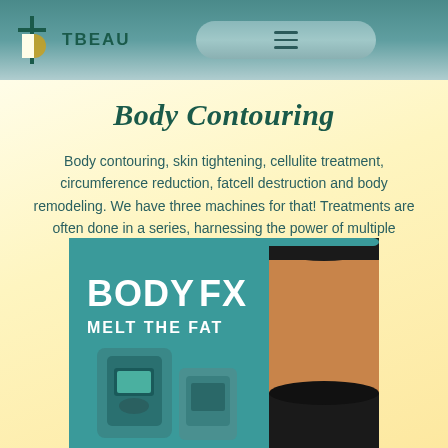TBEAU
Body Contouring
Body contouring, skin tightening, cellulite treatment, circumference reduction, fatcell destruction and body remodeling. We have three machines for that! Treatments are often done in a series, harnessing the power of multiple machines and an adipoderm body wrap.
[Figure (photo): BODY FX MELT THE FAT advertisement image showing a body contouring device on a teal background alongside a person's midsection in black workout shorts]